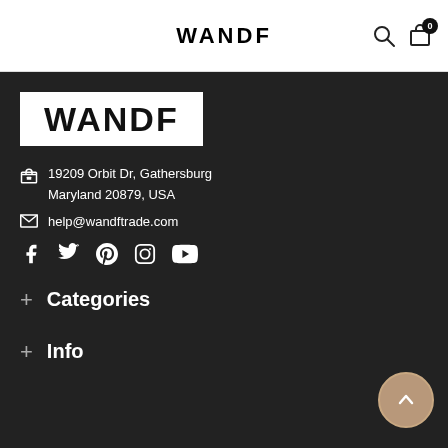WANDF
[Figure (logo): WANDF brand logo in white box on dark background]
19209 Orbit Dr, Gathersburg Maryland 20879, USA
help@wandftrade.com
[Figure (infographic): Social media icons: Facebook, Twitter, Pinterest, Instagram, YouTube]
+ Categories
+ Info